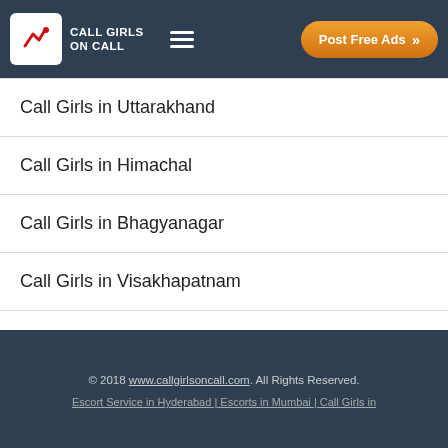CALL GIRLS ON CALL | Post Free Ads
Call Girls in Uttarakhand
Call Girls in Himachal
Call Girls in Bhagyanagar
Call Girls in Visakhapatnam
Call Girls in Zirakpur
© 2018 www.callgirlsoncall.com. All Rights Reserved. | Escort Service in Hyderabad | Escorts in Mumbai | Call Girls in